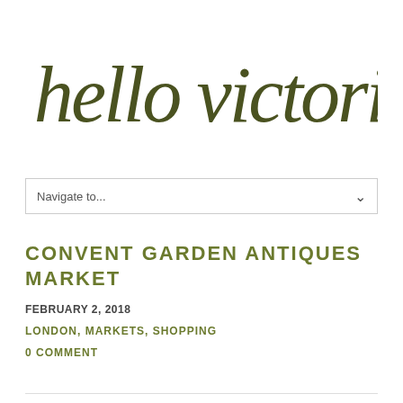[Figure (logo): Handwritten script logo reading 'hello victoria' in dark olive/khaki green color]
Navigate to...
CONVENT GARDEN ANTIQUES MARKET
FEBRUARY 2, 2018
LONDON, MARKETS, SHOPPING
0 COMMENT